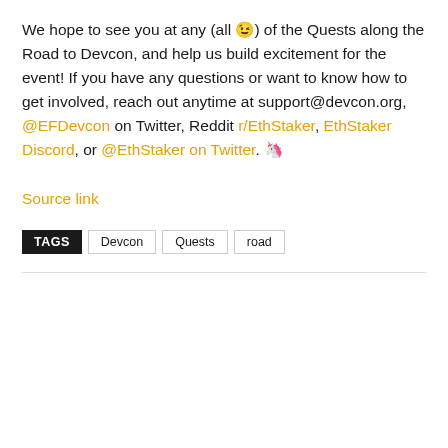We hope to see you at any (all 😉) of the Quests along the Road to Devcon, and help us build excitement for the event! If you have any questions or want to know how to get involved, reach out anytime at support@devcon.org, @EFDevcon on Twitter, Reddit r/EthStaker, EthStaker Discord, or @EthStaker on Twitter. 🦄
Source link
TAGS  Devcon  Quests  road